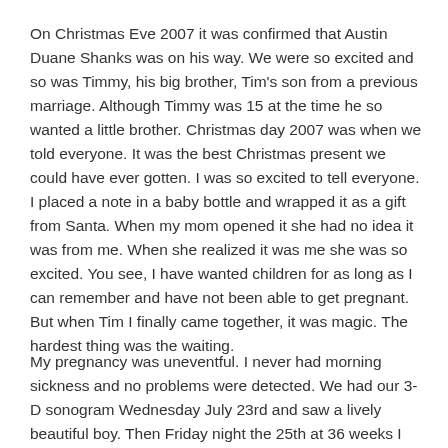On Christmas Eve 2007 it was confirmed that Austin Duane Shanks was on his way. We were so excited and so was Timmy, his big brother, Tim's son from a previous marriage. Although Timmy was 15 at the time he so wanted a little brother. Christmas day 2007 was when we told everyone. It was the best Christmas present we could have ever gotten. I was so excited to tell everyone. I placed a note in a baby bottle and wrapped it as a gift from Santa. When my mom opened it she had no idea it was from me. When she realized it was me she was so excited. You see, I have wanted children for as long as I can remember and have not been able to get pregnant. But when Tim I finally came together, it was magic. The hardest thing was the waiting.
My pregnancy was uneventful. I never had morning sickness and no problems were detected. We had our 3-D sonogram Wednesday July 23rd and saw a lively beautiful boy. Then Friday night the 25th at 36 weeks I woke thinking my water